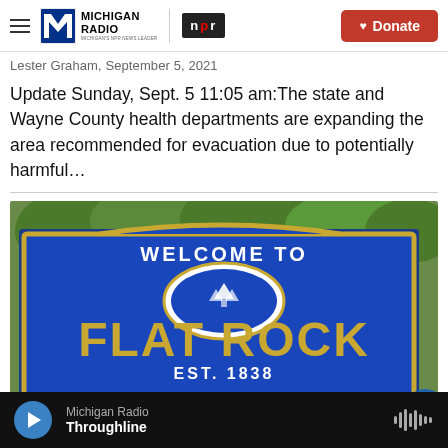Michigan Radio | NPR | Donate
Lester Graham, September 5, 2021
Update Sunday, Sept. 5 11:05 am:The state and Wayne County health departments are expanding the area recommended for evacuation due to potentially harmful…
[Figure (photo): Welcome to Flat Rock, EST. 1838, "In God We Trust" sign — a blue and gold welcome sign for the city of Flat Rock, Michigan]
Michigan Radio — Throughline (player bar)